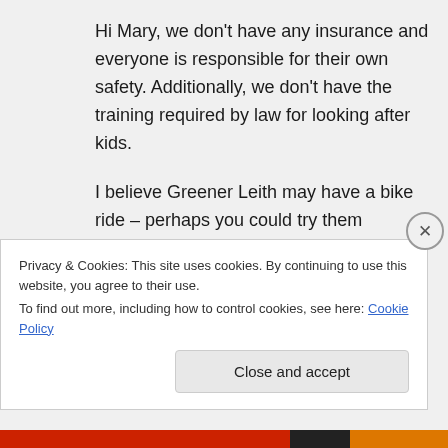Hi Mary, we don't have any insurance and everyone is responsible for their own safety. Additionally, we don't have the training required by law for looking after kids.
I believe Greener Leith may have a bike ride – perhaps you could try them (Google should find them)
Cheers
Privacy & Cookies: This site uses cookies. By continuing to use this website, you agree to their use.
To find out more, including how to control cookies, see here: Cookie Policy